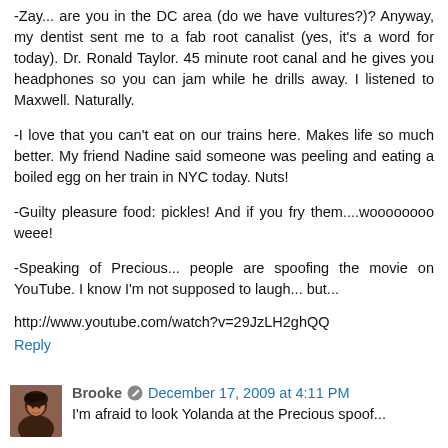-Zay... are you in the DC area (do we have vultures?)? Anyway, my dentist sent me to a fab root canalist (yes, it's a word for today). Dr. Ronald Taylor. 45 minute root canal and he gives you headphones so you can jam while he drills away. I listened to Maxwell. Naturally.
-I love that you can't eat on our trains here. Makes life so much better. My friend Nadine said someone was peeling and eating a boiled egg on her train in NYC today. Nuts!
-Guilty pleasure food: pickles! And if you fry them....woooooooo weee!
-Speaking of Precious... people are spoofing the movie on YouTube. I know I'm not supposed to laugh... but...
http://www.youtube.com/watch?v=29JzLH2ghQQ
Reply
Brooke
December 17, 2009 at 4:11 PM
I'm afraid to look Yolanda at the Precious spoof...